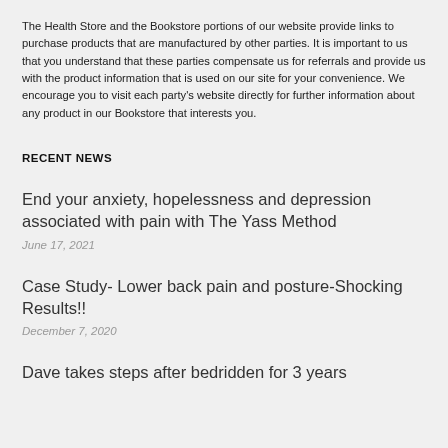The Health Store and the Bookstore portions of our website provide links to purchase products that are manufactured by other parties. It is important to us that you understand that these parties compensate us for referrals and provide us with the product information that is used on our site for your convenience. We encourage you to visit each party's website directly for further information about any product in our Bookstore that interests you.
RECENT NEWS
End your anxiety, hopelessness and depression associated with pain with The Yass Method
June 17, 2021
Case Study- Lower back pain and posture-Shocking Results!!
December 7, 2020
Dave takes steps after bedridden for 3 years